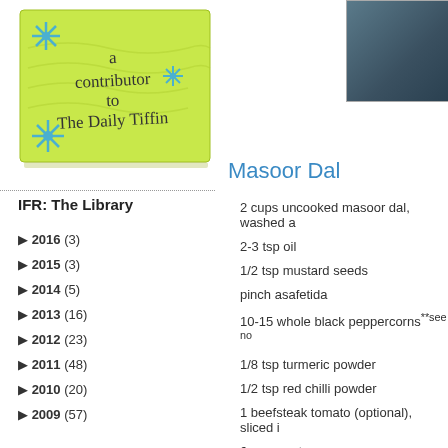[Figure (illustration): Green sticky note with handwritten text 'a contributor to The Daily Tiffin' decorated with blue flower/snowflake designs]
[Figure (photo): Partial photo in top right corner, dark blue-grey blurred background]
IFR: The Library
2016 (3)
2015 (3)
2014 (5)
2013 (16)
2012 (23)
2011 (48)
2010 (20)
2009 (57)
Masoor Dal
2 cups uncooked masoor dal, washed a
2-3 tsp oil
1/2 tsp mustard seeds
pinch asafetida
10-15 whole black peppercorns**see no
1/8 tsp turmeric powder
1/2 tsp red chilli powder
1 beefsteak tomato (optional), sliced i
6 cups water
juice of one lemon